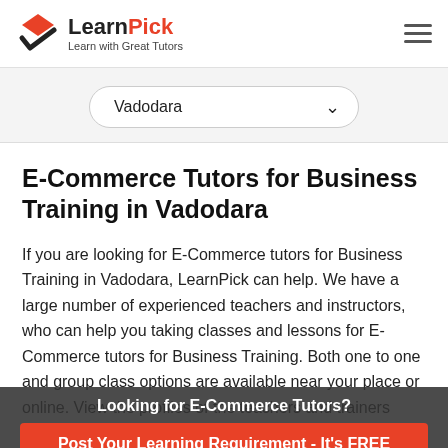[Figure (logo): LearnPick logo with diamond/checkmark icon and tagline 'Learn with Great Tutors']
Vadodara
E-Commerce Tutors for Business Training in Vadodara
If you are looking for E-Commerce tutors for Business Training in Vadodara, LearnPick can help. We have a large number of experienced teachers and instructors, who can help you taking classes and lessons for E-Commerce tutors for Business Training. Both one to one and group class options are available near your place or online. View the profiles of the teachers and trainers detailing their qualification, expertise, teaching techniques, hourly rates and availability. Post your require
Looking for E-Commerce Tutors?
Post Your Learning Requirement - It's FREE